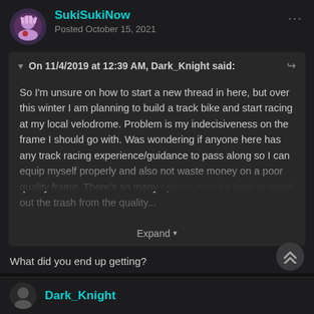SukiSukiNow
Posted October 15, 2021
On 11/4/2019 at 12:39 AM, Dark_Knight said:
So I'm unsure on how to start a new thread in here, but over this winter I am planning to build a track bike and start racing at my local velodrome. Problem is my indecisiveness on the frame I should go with. Was wondering if anyone here has any track racing experience/guidance to pass along so I can equip myself properly and also not waste money on a poor quality frame. There's so many options now it's hard to weed out the trash from the quality...
Expand
What did you end up getting?
I just got my road bike all fixed and ready to ride again (my heart will always belong to fixed tho).
Dark_Knight